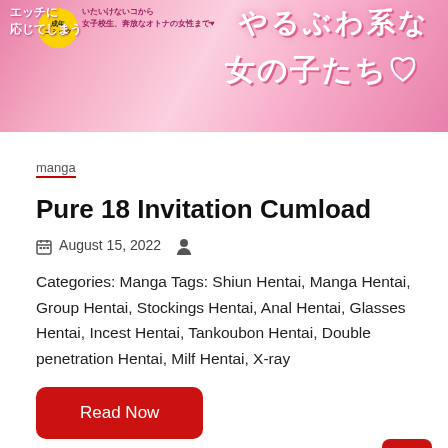[Figure (illustration): Manga/comic book cover image with Japanese text on pink background, showing decorative title text and a yellow badge label]
manga
Pure 18 Invitation Cumload
August 15, 2022
Categories: Manga Tags: Shiun Hentai, Manga Hentai, Group Hentai, Stockings Hentai, Anal Hentai, Glasses Hentai, Incest Hentai, Tankoubon Hentai, Double penetration Hentai, Milf Hentai, X-ray
Read Now
[Figure (illustration): Partial manga/anime style illustration visible at bottom of page with pink tones]